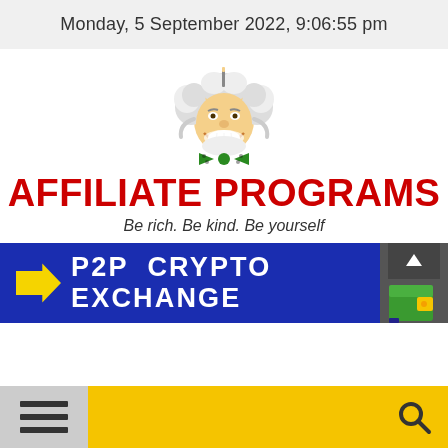Monday, 5 September 2022, 9:06:55 pm
[Figure (illustration): Cartoon caricature of Albert Einstein with white hair and big smile, wearing a green polka-dot bow tie]
AFFILIATE PROGRAMS
Be rich. Be kind. Be yourself
[Figure (infographic): Blue banner with yellow arrow pointing right and white bold text reading P2P CRYPTO EXCHANGE, with a wallet/scroll-top button on the right side]
[Figure (infographic): Yellow bottom navigation bar with hamburger menu on left and search icon on right]